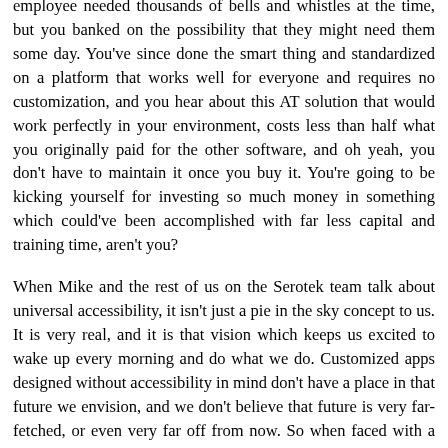employee needed thousands of bells and whistles at the time, but you banked on the possibility that they might need them some day. You've since done the smart thing and standardized on a platform that works well for everyone and requires no customization, and you hear about this AT solution that would work perfectly in your environment, costs less than half what you originally paid for the other software, and oh yeah, you don't have to maintain it once you buy it. You're going to be kicking yourself for investing so much money in something which could've been accomplished with far less capital and training time, aren't you?
When Mike and the rest of us on the Serotek team talk about universal accessibility, it isn't just a pie in the sky concept to us. It is very real, and it is that vision which keeps us excited to wake up every morning and do what we do. Customized apps designed without accessibility in mind don't have a place in that future we envision, and we don't believe that future is very far-fetched, or even very far off from now. So when faced with a choice to spend time and development on doing things the way they've been